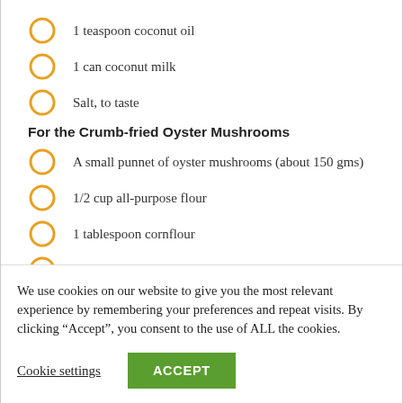1 teaspoon coconut oil
1 can coconut milk
Salt, to taste
For the Crumb-fried Oyster Mushrooms
A small punnet of oyster mushrooms (about 150 gms)
1/2 cup all-purpose flour
1 tablespoon cornflour
Salt, to taste
Black pepper powder, to taste
We use cookies on our website to give you the most relevant experience by remembering your preferences and repeat visits. By clicking “Accept”, you consent to the use of ALL the cookies.
Cookie settings | ACCEPT